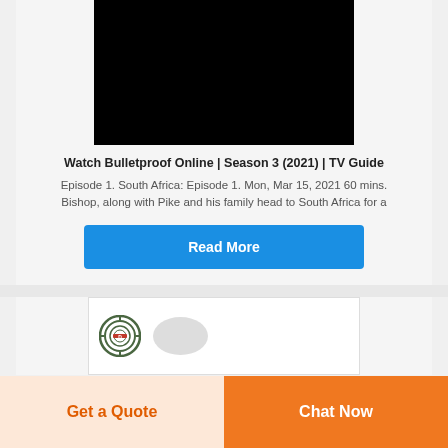[Figure (screenshot): Black video thumbnail for Bulletproof Season 3]
Watch Bulletproof Online | Season 3 (2021) | TV Guide
Episode 1. South Africa: Episode 1. Mon, Mar 15, 2021 60 mins. Bishop, along with Pike and his family head to South Africa for a
Read More
[Figure (screenshot): Bottom card thumbnail with circular logo (D) and gray blob shape]
Get a Quote
Chat Now